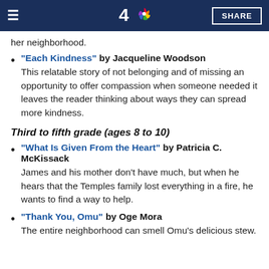NBC 4 | SHARE
her neighborhood.
"Each Kindness" by Jacqueline Woodson — This relatable story of not belonging and of missing an opportunity to offer compassion when someone needed it leaves the reader thinking about ways they can spread more kindness.
Third to fifth grade (ages 8 to 10)
"What Is Given From the Heart" by Patricia C. McKissack — James and his mother don't have much, but when he hears that the Temples family lost everything in a fire, he wants to find a way to help.
"Thank You, Omu" by Oge Mora — The entire neighborhood can smell Omu's delicious stew.